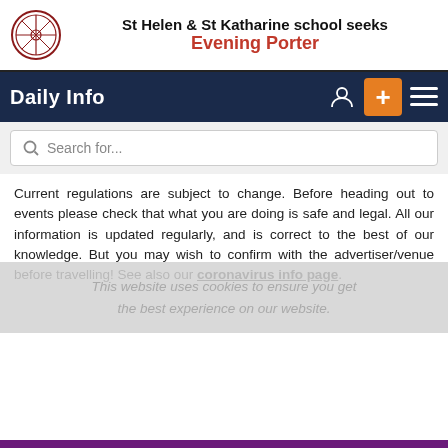[Figure (other): St Helen & St Katharine school advertisement banner with school crest logo, seeking an Evening Porter]
Daily Info
Search for...
Current regulations are subject to change. Before heading out to events please check that what you are doing is safe and legal. All our information is updated regularly, and is correct to the best of our knowledge. But you may wish to confirm with the advertiser/venue before travelling! See also our coronavirus info page.
This website uses cookies to ensure you get the best experience on our website.
Simon Amstell
"intellectually sophisticated, engagingly honest, genuinely accomplished stand-up" - The Scotsman
Jobs  What's On  Property  Services  Menu